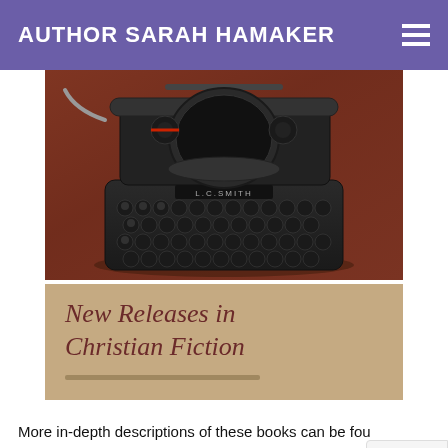AUTHOR SARAH HAMAKER
[Figure (photo): A vintage L.C. Smith typewriter photographed from above on a dark wood surface, showing keys and typehead. Below the photo is a tan/beige area with italic text reading 'New Releases in Christian Fiction' in dark red, and a short decorative underline.]
More in-depth descriptions of these books can be found on the ACFW Fiction Finder website.